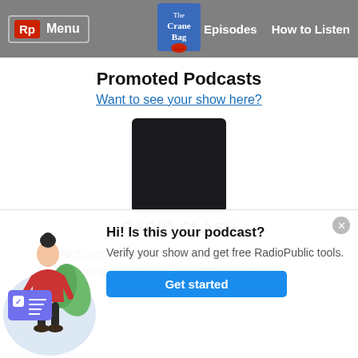Rp Menu | The Crane Bag | Episodes | How to Listen
Promoted Podcasts
Want to see your show here?
[Figure (other): Black square podcast cover art thumbnail]
RADIO CLASH
Noticias, novedades y lanzamientos del mundo del rock, con Alfredo Lewin
[Figure (illustration): Illustration of a woman with a verification card and green plant leaves. Popup dialog asking: Hi! Is this your podcast? Verify your show and get free RadioPublic tools. Get started button.]
Hi! Is this your podcast?
Verify your show and get free RadioPublic tools.
Get started